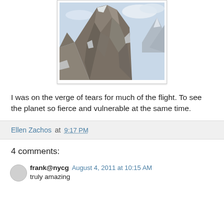[Figure (photo): Mountain rocky peak with snow and cloudy sky, aerial or close-up view of a jagged mountain summit]
I was on the verge of tears for much of the flight. To see the planet so fierce and vulnerable at the same time.
Ellen Zachos at 9:17 PM
4 comments:
frank@nycg August 4, 2011 at 10:15 AM
truly amazing